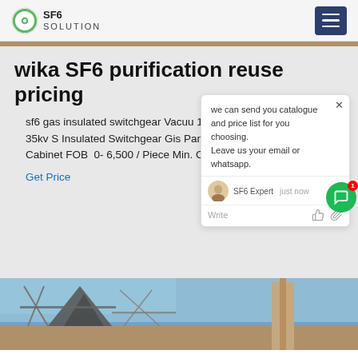SF6 SOLUTION
wika SF6 purification reuse pricing
sf6 gas insulated switchgear Vacuum 13.8kv 15kv 20kv 24kv 33kv 35kv S Insulated Switchgear Gis Panel Rin Rmu Switchboard Cabinet FOB 0- 6,500 / Piece Min. Order: 1 Piece
Get Price
[Figure (screenshot): Chat popup overlay with message: we can send you catalogue and price list for you choosing. Leave us your email or whatsapp. SF6 Expert just now. Write input field with thumbs-up and attachment icons. Green chat bubble button with badge 1.]
[Figure (photo): Construction site photo showing metal frameworks and structural beams against a blue sky.]